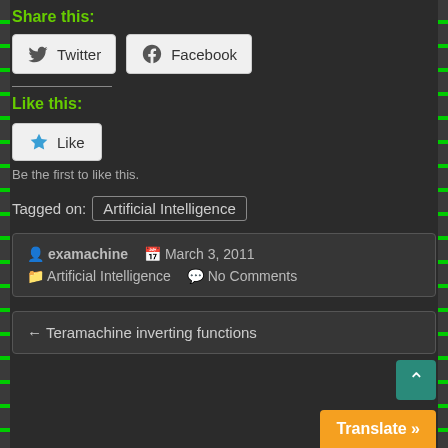Share this:
[Figure (other): Twitter and Facebook share buttons]
Like this:
[Figure (other): Like button with star icon]
Be the first to like this.
Tagged on:  Artificial Intelligence
examachine   March 3, 2011   Artificial Intelligence   No Comments
← Teramachine inverting functions
Translate »